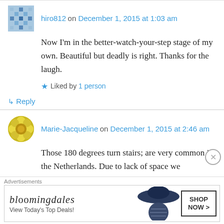hiro812 on December 1, 2015 at 1:03 am
Now I'm in the better-watch-your-step stage of my own. Beautiful but deadly is right. Thanks for the laugh.
Liked by 1 person
↳ Reply
Marie-Jacqueline on December 1, 2015 at 2:46 am
Those 180 degrees turn stairs; are very common in the Netherlands. Due to lack of space we
Advertisements
[Figure (screenshot): Bloomingdale's advertisement banner: 'View Today's Top Deals!' with SHOP NOW > button and woman in wide-brim hat]